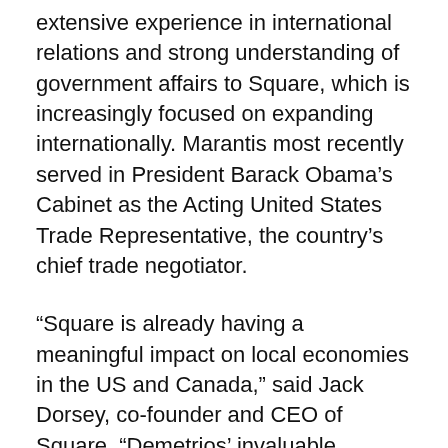extensive experience in international relations and strong understanding of government affairs to Square, which is increasingly focused on expanding internationally. Marantis most recently served in President Barack Obama's Cabinet as the Acting United States Trade Representative, the country's chief trade negotiator.
“Square is already having a meaningful impact on local economies in the US and Canada,” said Jack Dorsey, co-founder and CEO of Square. “Demetrios’ invaluable experience will help Square provide powerful business tools to local